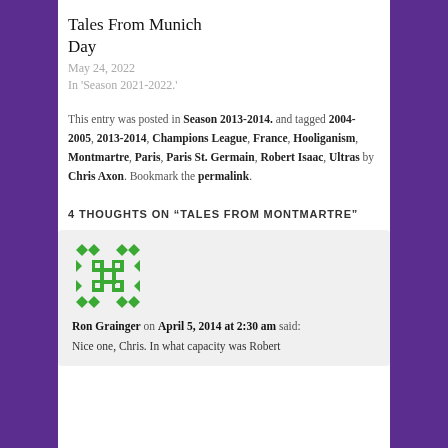Tales From Munich Day
May 24, 2022
In 'Season 2021-2022.'
This entry was posted in Season 2013-2014. and tagged 2004-2005, 2013-2014, Champions League, France, Hooliganism, Montmartre, Paris, Paris St. Germain, Robert Isaac, Ultras by Chris Axon. Bookmark the permalink.
4 THOUGHTS ON "TALES FROM MONTMARTRE"
[Figure (illustration): Green geometric avatar icon for commenter Ron Grainger]
Ron Grainger on April 5, 2014 at 2:30 am said:
Nice one, Chris. In what capacity was Robert Isaac in Paris? As a club?